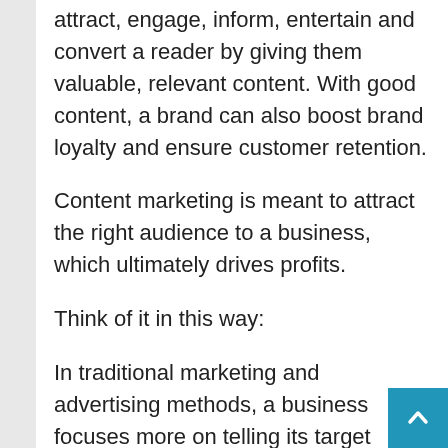attract, engage, inform, entertain and convert a reader by giving them valuable, relevant content. With good content, a brand can also boost brand loyalty and ensure customer retention.
Content marketing is meant to attract the right audience to a business, which ultimately drives profits.
Think of it in this way:
In traditional marketing and advertising methods, a business focuses more on telling its target audience that it is awesome and worthy of user engagement. Content marketing is more about showing your target audience that you are good at what you do. The strategy of